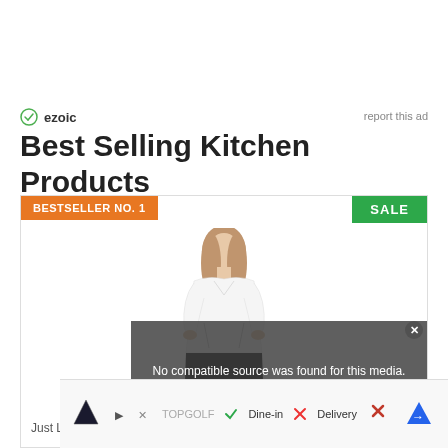ezoic
report this ad
Best Selling Kitchen Products
BESTSELLER NO. 1
SALE
[Figure (photo): Woman wearing white scrub top, standing facing forward with hands in pockets]
No compatible source was found for this media.
Just Love Scrub Tops for Women 22000T-White-XL
[Figure (infographic): Bottom advertisement bar with Topgolf logo, checkmark Dine-in, X Delivery, close X, and navigation arrow icons]